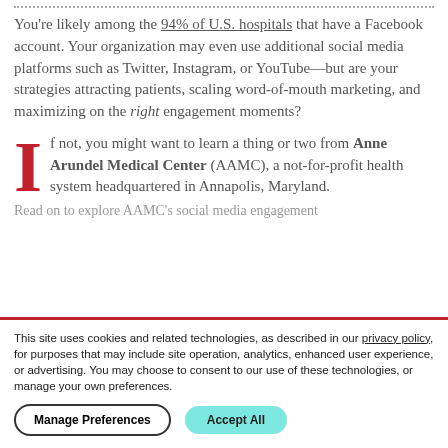You're likely among the 94% of U.S. hospitals that have a Facebook account. Your organization may even use additional social media platforms such as Twitter, Instagram, or YouTube—but are your strategies attracting patients, scaling word-of-mouth marketing, and maximizing on the right engagement moments?
If not, you might want to learn a thing or two from Anne Arundel Medical Center (AAMC), a not-for-profit health system headquartered in Annapolis, Maryland.
Read on to explore AAMC's social media engagement
This site uses cookies and related technologies, as described in our privacy policy, for purposes that may include site operation, analytics, enhanced user experience, or advertising. You may choose to consent to our use of these technologies, or manage your own preferences.